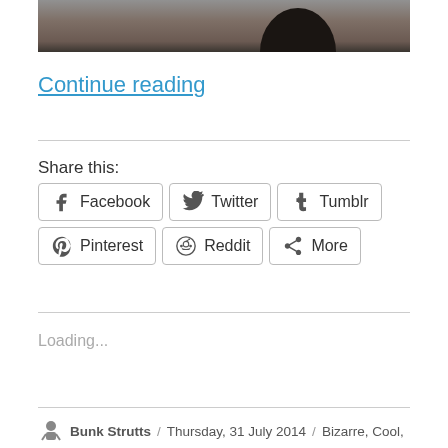[Figure (photo): Partial photo showing a dark pen or finger against a brownish surface, cropped at top of page]
Continue reading
Share this:
Facebook Twitter Tumblr Pinterest Reddit More
Loading...
Bunk Strutts / Thursday, 31 July 2014 / Bizarre, Cool,